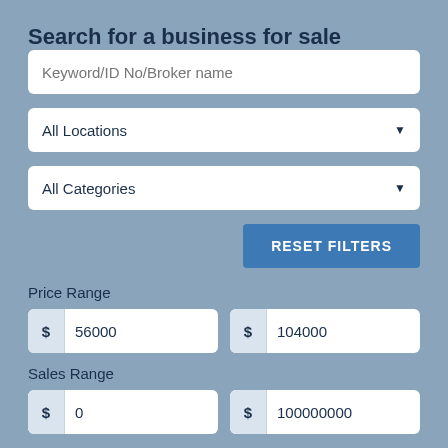Search for a business for sale
Keyword/ID No/Broker name
All Locations
All Categories
RESET FILTERS
Price Range
$ 56000
$ 104000
Sales Range
$ 0
$ 100000000